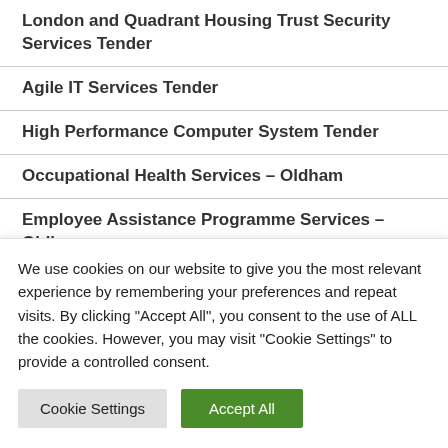London and Quadrant Housing Trust Security Services Tender
Agile IT Services Tender
High Performance Computer System Tender
Occupational Health Services – Oldham
Employee Assistance Programme Services – Oldham
Banking Service Tender – London Borough of Tower Hamlets
We use cookies on our website to give you the most relevant experience by remembering your preferences and repeat visits. By clicking "Accept All", you consent to the use of ALL the cookies. However, you may visit "Cookie Settings" to provide a controlled consent.